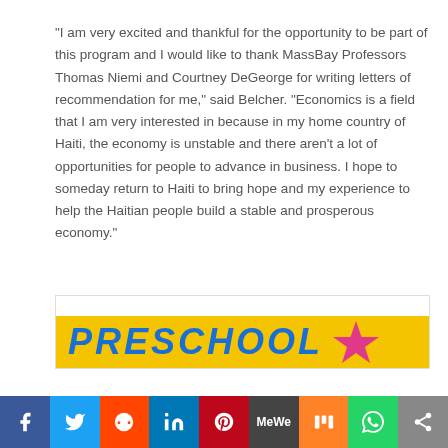“I am very excited and thankful for the opportunity to be part of this program and I would like to thank MassBay Professors Thomas Niemi and Courtney DeGeorge for writing letters of recommendation for me,” said Belcher. “Economics is a field that I am very interested in because in my home country of Haiti, the economy is unstable and there aren’t a lot of opportunities for people to advance in business. I hope to someday return to Haiti to bring hope and my experience to help the Haitian people build a stable and prosperous economy.”
[Figure (illustration): Preschool banner with yellow background and large blue italic bold text reading PRESCHOOL with a pink star graphic on the right]
[Figure (infographic): Social media sharing bar with icons for Facebook, Twitter, Reddit, LinkedIn, Pinterest, MeWe, Mix, WhatsApp, and Share]